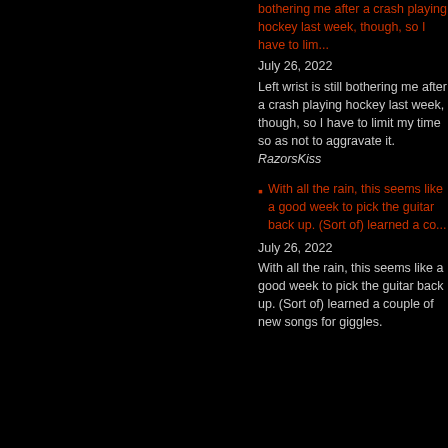bothering me after a crash playing hockey last week, though, so I have to lim... July 26, 2022 Left wrist is still bothering me after a crash playing hockey last week, though, so I have to limit my time so as not to aggravate it. RazorsKiss
With all the rain, this seems like a good week to pick the guitar back up. (Sort of) learned a co... July 26, 2022 With all the rain, this seems like a good week to pick the guitar back up. (Sort of) learned a couple of new songs for giggles.